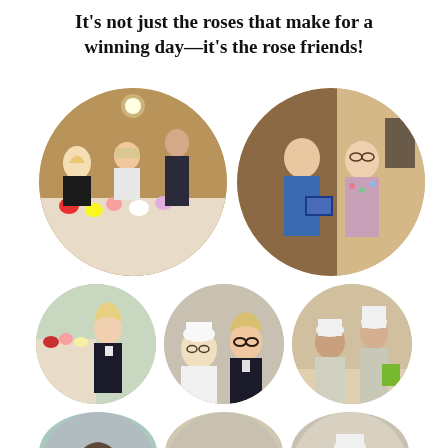It's not just the roses that make for a winning day—it's the rose friends!
[Figure (photo): Collage of circular cropped photos showing rose show participants: two large circles in top row (left: group of people looking at rose display table with colorful roses; right: two people posing with a certificate/award folder), three medium circles in middle row (left: woman standing near rose display; center: two people laughing/talking; right: two people with chef hats serving food), three partial circles at bottom edge of page.]